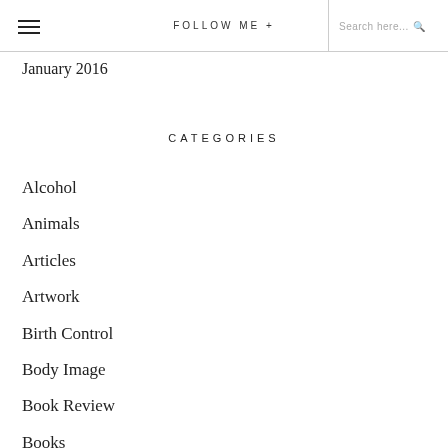FOLLOW ME +  Search here...
January 2016
CATEGORIES
Alcohol
Animals
Articles
Artwork
Birth Control
Body Image
Book Review
Books